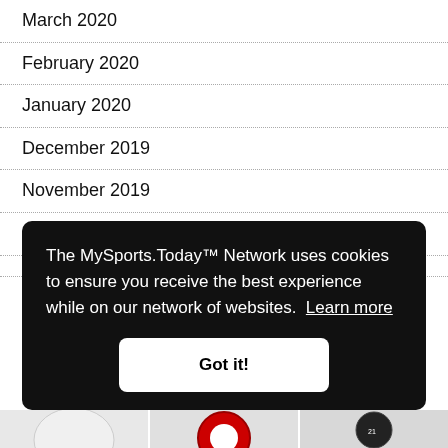March 2020
February 2020
January 2020
December 2019
November 2019
October 2019
The MySports.Today™ Network uses cookies to ensure you receive the best experience while on our network of websites. Learn more
Got it!
[Figure (photo): Partial view of sports equipment images at bottom of page]